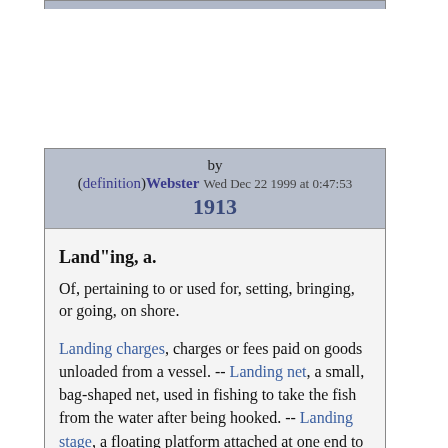[Figure (other): Top decorative bar element of a framed dictionary entry box]
by (definition)Webster 1913  Wed Dec 22 1999 at 0:47:53
Land"ing, a. Of, pertaining to or used for, setting, bringing, or going, on shore. Landing charges, charges or fees paid on goods unloaded from a vessel. -- Landing net, a small, bag-shaped net, used in fishing to take the fish from the water after being hooked. -- Landing stage, a floating platform attached at one end to a wharf in such a manner as to rise and fall with the